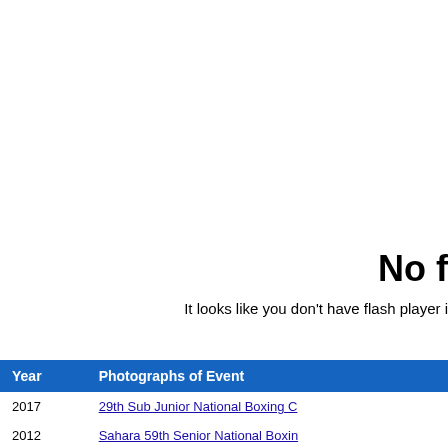No f
It looks like you don't have flash player i
| Year | Photographs of Event |
| --- | --- |
| 2017 | 29th Sub Junior National Boxing C |
| 2012 | Sahara 59th Senior National Boxin |
| 2012 | Indian Men's Team Arrives from A |